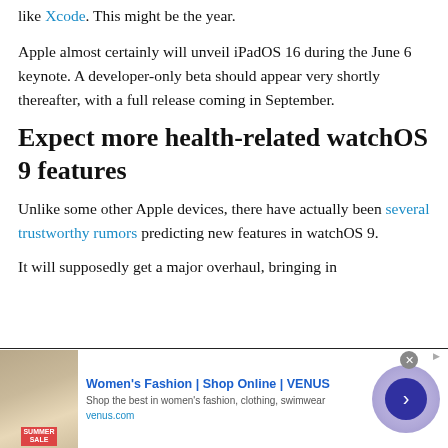like Xcode. This might be the year.
Apple almost certainly will unveil iPadOS 16 during the June 6 keynote. A developer-only beta should appear very shortly thereafter, with a full release coming in September.
Expect more health-related watchOS 9 features
Unlike some other Apple devices, there have actually been several trustworthy rumors predicting new features in watchOS 9.
It will supposedly get a major overhaul, bringing in
[Figure (other): Advertisement banner for Women's Fashion at VENUS (venus.com). Shows a summer sale image on the left, ad text in the middle, and a circular arrow button on the right.]